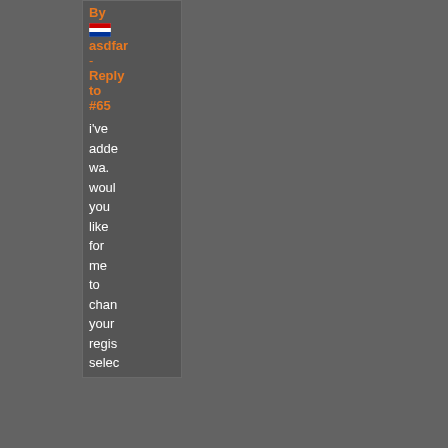By
asdfar
-
Reply to #65
i've added wa. would you like for me to change your regist selec
<< Comment #77 @ 18:19 CST, 9 January 2015 >>